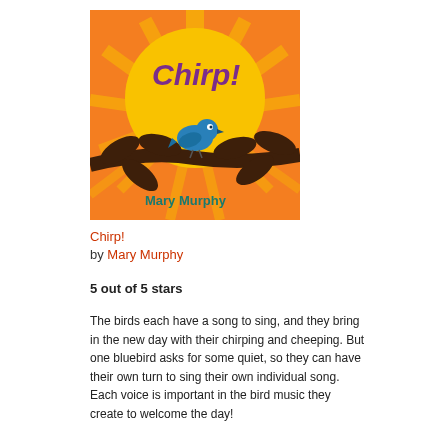[Figure (illustration): Book cover of 'Chirp!' by Mary Murphy. Orange background with orange and yellow sunburst. A large yellow circle/sun in the center with 'Chirp!' written in purple letters. A blue bird sits on a dark brown branch with leaves. Author name 'Mary Murphy' in teal at the bottom.]
Chirp!
by Mary Murphy
5 out of 5 stars
The birds each have a song to sing, and they bring in the new day with their chirping and cheeping. But one bluebird asks for some quiet, so they can have their own turn to sing their own individual song. Each voice is important in the bird music they create to welcome the day!